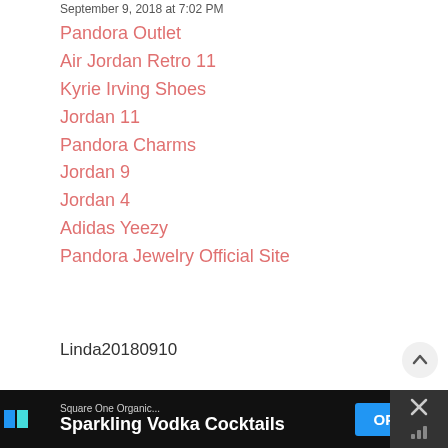September 9, 2018 at 7:02 PM
Pandora Outlet
Air Jordan Retro 11
Kyrie Irving Shoes
Jordan 11
Pandora Charms
Jordan 9
Jordan 4
Adidas Yeezy
Pandora Jewelry Official Site
Linda20180910
Reply
Enter Comment
Square One Organic... Sparkling Vodka Cocktails OPEN